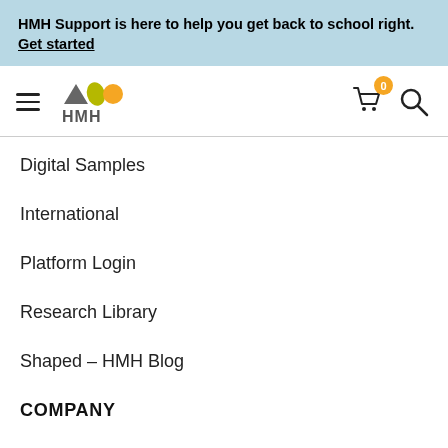HMH Support is here to help you get back to school right. Get started
[Figure (logo): HMH logo with triangle, leaf, and circle shapes above HMH text; hamburger menu icon on left; shopping cart with badge '0' and search icon on right]
Digital Samples
International
Platform Login
Research Library
Shaped – HMH Blog
COMPANY
About
Careers ↗